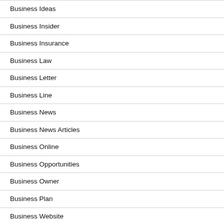Business Ideas
Business Insider
Business Insurance
Business Law
Business Letter
Business Line
Business News
Business News Articles
Business Online
Business Opportunities
Business Owner
Business Plan
Business Website